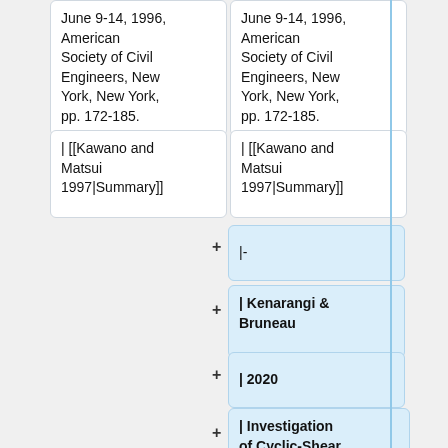June 9-14, 1996, American Society of Civil Engineers, New York, New York, pp. 172-185.
June 9-14, 1996, American Society of Civil Engineers, New York, New York, pp. 172-185.
| [[Kawano and Matsui 1997|Summary]]
| [[Kawano and Matsui 1997|Summary]]
|-
| Kenarangi & Bruneau
| 2020
| Investigation of Cyclic-Shear Behavior of Circular-Reinforced Concrete-Filled